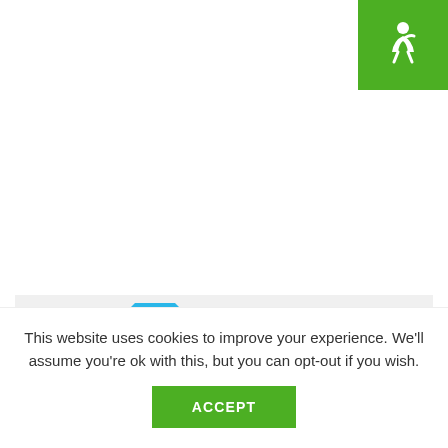[Figure (logo): Green square logo with white accessibility/person icon (Gumroad or similar brand logo)]
[Figure (other): Ad banner with blue house/octagon logo shape and green chevron, with bold text 'REACH' on the right side, and an X close button in the top-right corner]
This website uses cookies to improve your experience. We'll assume you're ok with this, but you can opt-out if you wish.
ACCEPT